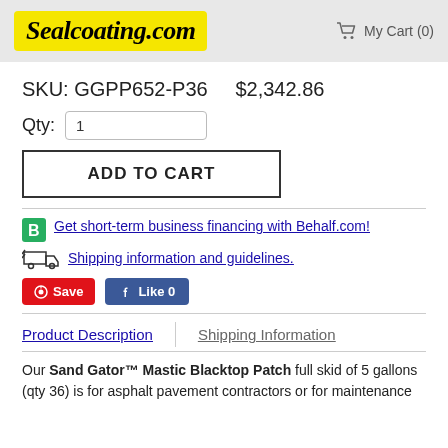[Figure (logo): Sealcoating.com logo in yellow box with italic bold text]
My Cart (0)
SKU: GGPP652-P36   $2,342.86
Qty: 1
ADD TO CART
Get short-term business financing with Behalf.com!
Shipping information and guidelines.
Save
Like 0
Product Description
Shipping Information
Our Sand Gator™ Mastic Blacktop Patch full skid of 5 gallons (qty 36) is for asphalt pavement contractors or for maintenance